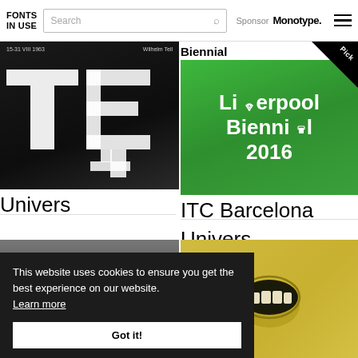FONTS IN USE — Search — Sponsor Monotype.
[Figure (photo): Black and white typographic image with large geometric letterforms, text reads '15-31 VIII 1963' and 'Wilhelm Tell' at top]
Univers
Biennial
[Figure (photo): Green background image with white text reading 'Liverpool Biennial 2016' with wifi symbol replacing 'v' in Liverpool. Has 'Pick' badge in top right corner.]
ITC Barcelona
Univers
[Figure (photo): Partial bottom-left image, appears to show graphic design work with text 'in Stade']
[Figure (photo): Yellow/golden image showing an open mouth with teeth]
This website uses cookies to ensure you get the best experience on our website. Learn more
Got it!